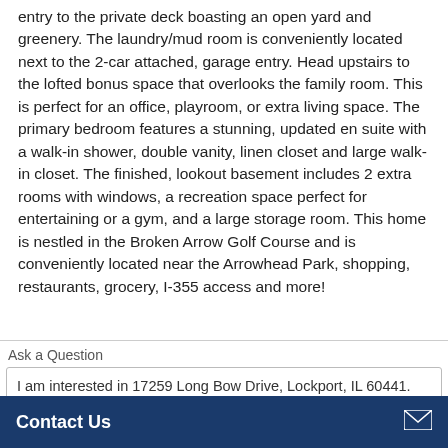entry to the private deck boasting an open yard and greenery. The laundry/mud room is conveniently located next to the 2-car attached, garage entry. Head upstairs to the lofted bonus space that overlooks the family room. This is perfect for an office, playroom, or extra living space. The primary bedroom features a stunning, updated en suite with a walk-in shower, double vanity, linen closet and large walk-in closet. The finished, lookout basement includes 2 extra rooms with windows, a recreation space perfect for entertaining or a gym, and a large storage room. This home is nestled in the Broken Arrow Golf Course and is conveniently located near the Arrowhead Park, shopping, restaurants, grocery, I-355 access and more!
Ask a Question
I am interested in 17259 Long Bow Drive, Lockport, IL 60441.
Contact Us